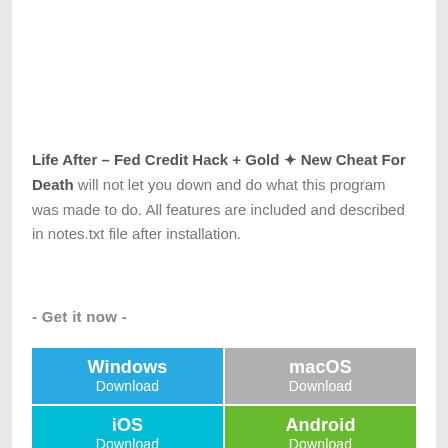Life After – Fed Credit Hack + Gold ✦ New Cheat For Death will not let you down and do what this program was made to do. All features are included and described in notes.txt file after installation.
- Get it now -
[Figure (infographic): Four download buttons in a 2x2 grid: Windows Download (blue), macOS Download (gray), iOS Download (teal), Android Download (green)]